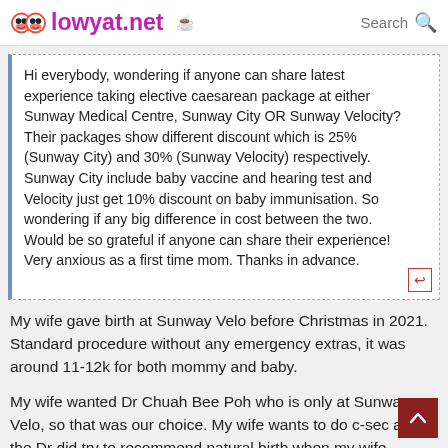lowyat.net  Search
Hi everybody, wondering if anyone can share latest experience taking elective caesarean package at either Sunway Medical Centre, Sunway City OR Sunway Velocity? Their packages show different discount which is 25% (Sunway City) and 30% (Sunway Velocity) respectively. Sunway City include baby vaccine and hearing test and Velocity just get 10% discount on baby immunisation. So wondering if any big difference in cost between the two. Would be so grateful if anyone can share their experience! Very anxious as a first time mom. Thanks in advance.
My wife gave birth at Sunway Velo before Christmas in 2021. Standard procedure without any emergency extras, it was around 11-12k for both mommy and baby.
My wife wanted Dr Chuah Bee Poh who is only at Sunway Velo, so that was our choice. My wife wants to do c-sec and the Dr did try to recommend natural birth when my wife wanted to make the appointment for c-sec but however, my baby's position was upright position, so natural birth was not an option.